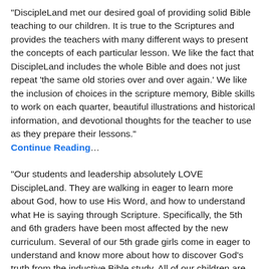"DiscipleLand met our desired goal of providing solid Bible teaching to our children. It is true to the Scriptures and provides the teachers with many different ways to present the concepts of each particular lesson. We like the fact that DiscipleLand includes the whole Bible and does not just repeat 'the same old stories over and over again.' We like the inclusion of choices in the scripture memory, Bible skills to work on each quarter, beautiful illustrations and historical information, and devotional thoughts for the teacher to use as they prepare their lessons." Continue Reading…
“Our students and leadership absolutely LOVE DiscipleLand. They are walking in eager to learn more about God, how to use His Word, and how to understand what He is saying through Scripture. Specifically, the 5th and 6th graders have been most affected by the new curriculum. Several of our 5th grade girls come in eager to understand and know more about how to discover God’s truth from the inductive Bible study. All of our children are engaged into the Teaching Pictures and to the lessons. Our goal in the Children’s Ministry is to prepare our children to enter the Youth Ministry ready to go even deeper with their relationship with God. DiscipleLand’s curriculum prepares